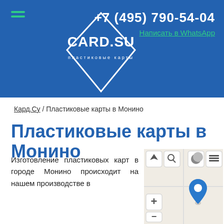+7 (495) 790-54-04 | Написать в WhatsApp | CARD.SU пластиковые карты
Кард.Су / Пластиковые карты в Монино
Пластиковые карты в Монино
Изготовление пластиковых карт в городе Монино происходит на нашем производстве в
[Figure (map): Interactive map showing location in Монино with navigation, search, zoom controls and a blue map pin marker]